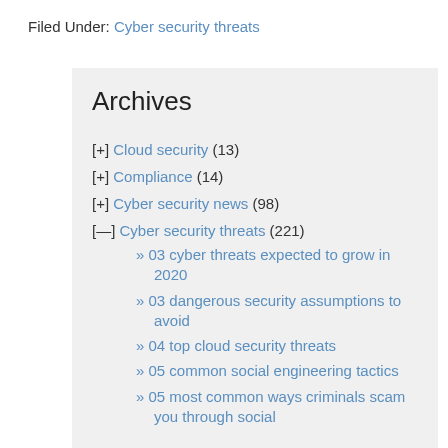Filed Under: Cyber security threats
Archives
[+] Cloud security (13)
[+] Compliance (14)
[+] Cyber security news (98)
[–] Cyber security threats (221)
» 03 cyber threats expected to grow in 2020
» 03 dangerous security assumptions to avoid
» 04 top cloud security threats
» 05 common social engineering tactics
» 05 most common ways criminals scam you through social